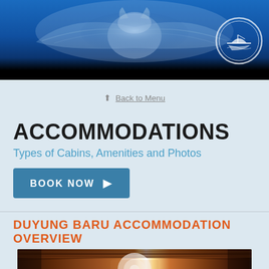[Figure (photo): Underwater photo of a manta ray swimming against a deep blue ocean background, with a circular logo/watermark visible in the top right corner. Bottom portion fades to black.]
⬆ Back to Menu
ACCOMMODATIONS
Types of Cabins, Amenities and Photos
BOOK NOW ▶
DUYUNG BARU ACCOMMODATION OVERVIEW
[Figure (photo): Interior photo of a boat cabin or lounge area with wooden ceiling beams, warm lighting, and cabin furnishings.]